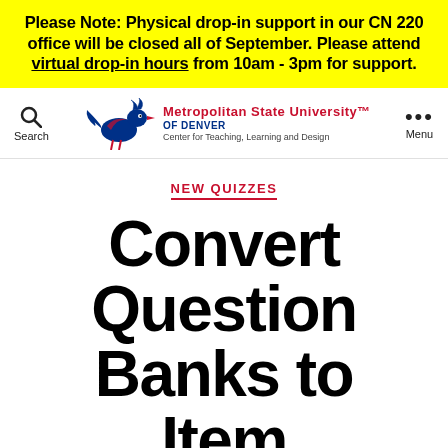Please Note: Physical drop-in support in our CN 220 office will be closed all of September. Please attend virtual drop-in hours from 10am - 3pm for support.
[Figure (logo): Metropolitan State University of Denver logo with roadrunner mascot, Center for Teaching, Learning and Design, with Search and Menu navigation items]
NEW QUIZZES
Convert Question Banks to Item